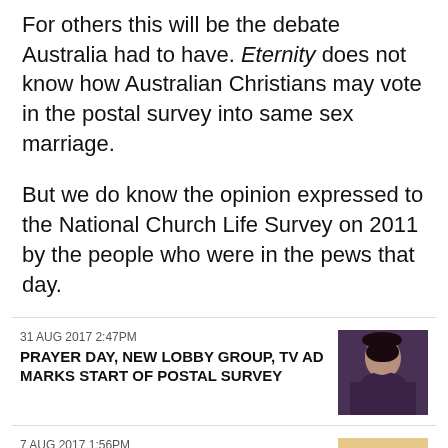For others this will be the debate Australia had to have. Eternity does not know how Australian Christians may vote in the postal survey into same sex marriage.
But we do know the opinion expressed to the National Church Life Survey on 2011 by the people who were in the pews that day.
31 AUG 2017 2:47PM
PRAYER DAY, NEW LOBBY GROUP, TV AD MARKS START OF POSTAL SURVEY
7 AUG 2017 1:56PM
FYI: WHAT THE SAME SEX MARRIAGE BILL ACTUALLY SAYS